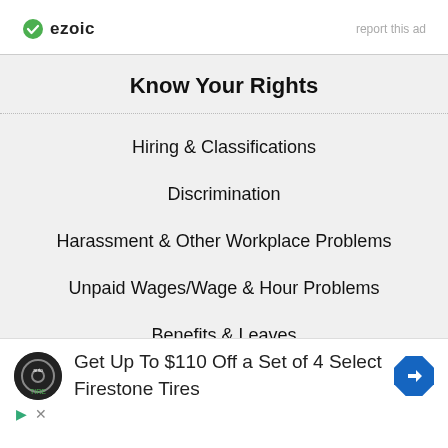[Figure (logo): Ezoic logo with green circle checkmark icon and 'ezoic' text]
report this ad
Know Your Rights
Hiring & Classifications
Discrimination
Harassment & Other Workplace Problems
Unpaid Wages/Wage & Hour Problems
Benefits & Leaves
Privacy & Workplace Surveillance
Health & Safety/Workplace Injuries
[Figure (infographic): Advertisement banner: Tire & Auto logo, text 'Get Up To $110 Off a Set of 4 Select Firestone Tires', blue diamond arrow icon]